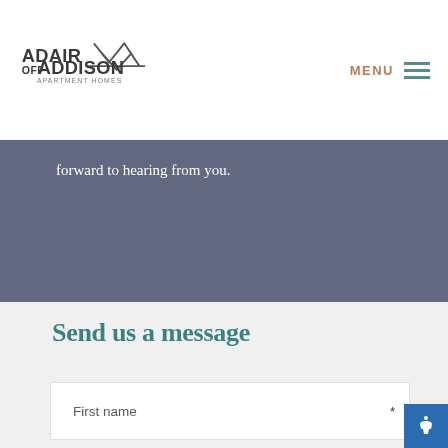[Figure (logo): Adair Off Addison Apartment Homes logo with mountain peaks icon]
MENU
forward to hearing from you.
Send us a message
First name *
Last name *
Email *